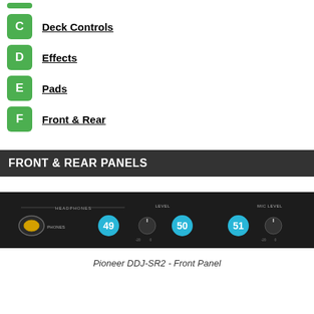C - Deck Controls
D - Effects
E - Pads
F - Front & Rear
FRONT & REAR PANELS
[Figure (photo): Pioneer DDJ-SR2 front panel showing headphones input (PHONES), knob 49 (headphone level), knob 50, number 51, and MIC LEVEL label with knob.]
Pioneer DDJ-SR2 - Front Panel